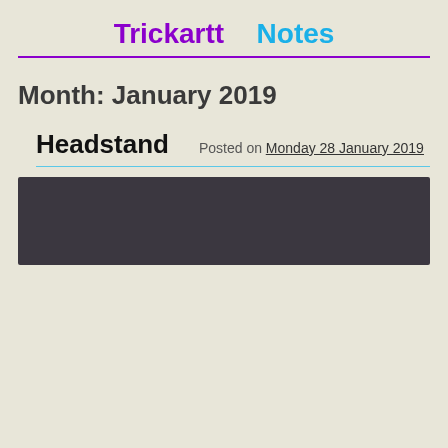Trickartt   Notes
Month: January 2019
Headstand
Posted on Monday 28 January 2019
[Figure (photo): Dark rectangular image block, dark charcoal/near-black background, no visible content]